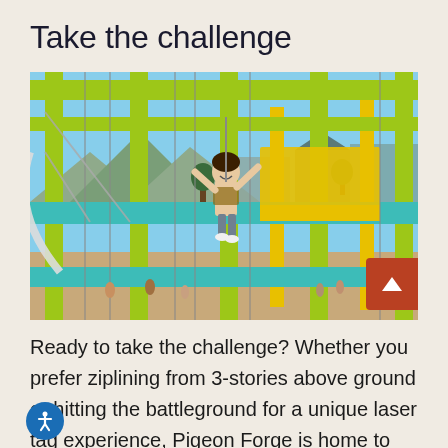Take the challenge
[Figure (photo): A child on a multi-story ropes course / zipline adventure park structure with colorful green, yellow, and teal beams. The child is harnessed and smiling while standing on a beam several stories above the ground, with a theme park and mountains visible in the background.]
Ready to take the challenge? Whether you prefer ziplining from 3-stories above ground or hitting the battleground for a unique laser tag experience, Pigeon Forge is home to plenty of heart-pounding